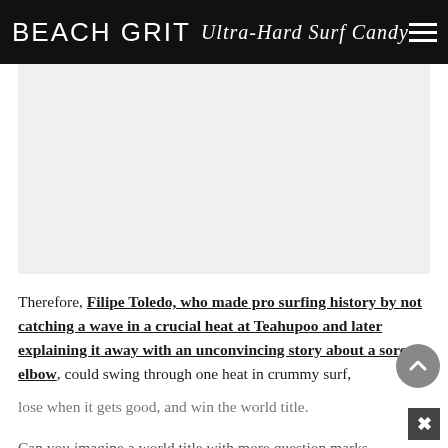BEACH GRIT Ultra-Hard Surf Candy
[Figure (other): Gray advertisement placeholder rectangle]
Therefore, Filipe Toledo, who made pro surfing history by not catching a wave in a crucial heat at Teahupoo and later explaining it away with an unconvincing story about a sore elbow, could swing through one heat in crummy surf, lose when it gets good, and win the world title.
Can you imagine a world title with more question marks